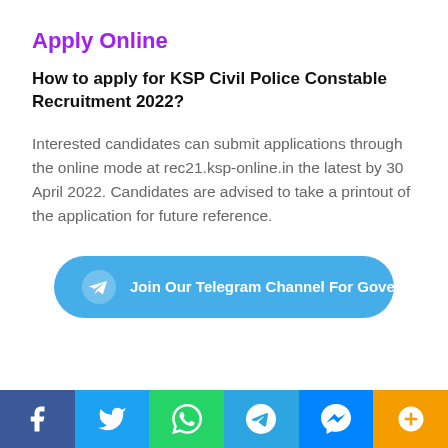Apply Online
How to apply for KSP Civil Police Constable Recruitment 2022?
Interested candidates can submit applications through the online mode at rec21.ksp-online.in the latest by 30 April 2022. Candidates are advised to take a printout of the application for future reference.
[Figure (infographic): Telegram channel button: Join Our Telegram Channel For Government Jobs]
[Figure (infographic): Social media share bar with Facebook, Twitter, WhatsApp, Telegram, Messenger, and plus buttons]